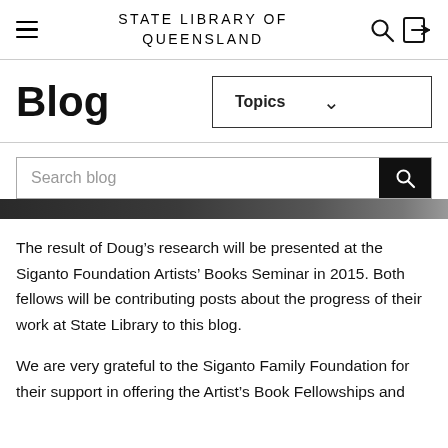STATE LIBRARY OF QUEENSLAND
Blog
[Figure (other): Topics dropdown selector with chevron]
[Figure (other): Search blog input bar with search button]
[Figure (photo): Partial image strip visible at bottom of search bar area]
The result of Doug’s research will be presented at the Siganto Foundation Artists’ Books Seminar in 2015. Both fellows will be contributing posts about the progress of their work at State Library to this blog.
We are very grateful to the Siganto Family Foundation for their support in offering the Artist’s Book Fellowships and